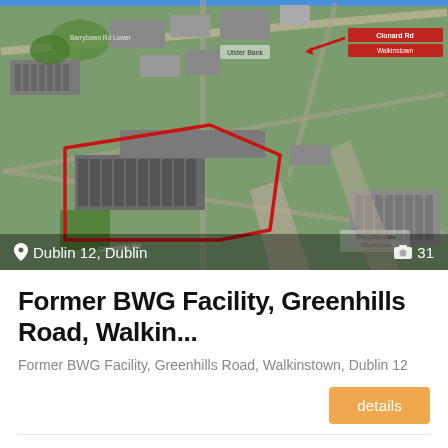[Figure (map): Aerial satellite map view of Former BWG Facility, Greenhills Road, Walkinstown, Dublin 12. Red outline polygon marks the property boundary. Location pin icon and text 'Dublin 12, Dublin' shown at bottom left. Camera icon and number '31' at bottom right. Red arrow and label at top right of map.]
Former BWG Facility, Greenhills Road, Walkin...
Former BWG Facility, Greenhills Road, Walkinstown, Dublin 12
details